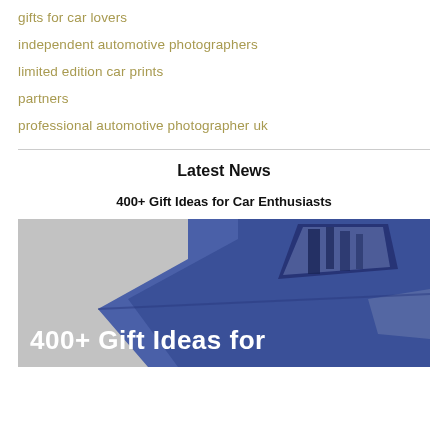gifts for car lovers
independent automotive photographers
limited edition car prints
partners
professional automotive photographer uk
Latest News
400+ Gift Ideas for Car Enthusiasts
[Figure (photo): Blue/purple car with text overlay reading '400+ Gift Ideas for']